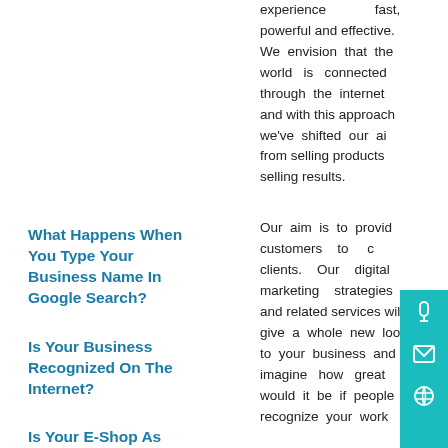experience fast, powerful and effective. We envision that the world is connected through the internet and with this approach we've shifted our aim from selling products to selling results.
Our aim is to provide customers to our clients. Our digital marketing strategies and related services will give a whole new look to your business and imagine how great would it be if people recognize your work through the internet.
What Happens When You Type Your Business Name In Google Search?
Is Your Business Recognized On The Internet?
Is Your E-Shop As